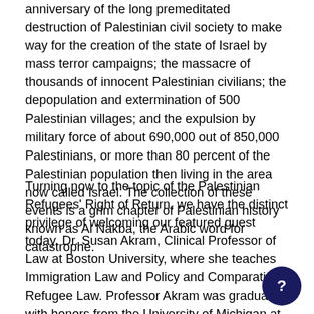anniversary of the long premeditated destruction of Palestinian civil society to make way for the creation of the state of Israel by mass terror campaigns; the massacre of thousands of innocent Palestinian civilians; the depopulation and extermination of 500 Palestinian villages; and the expulsion by military force of about 690,000 out of 850,000 Palestinians, or more than 80 percent of the Palestinian population then living in the area now called Israel. The collection of these events is a grim chapter of Palestinian history known as Al Nakba, the Arabic word for catastrophe.
Turning now to the topic of the Palestinian Refugees' Right of Return, we have the distinct privilege of welcoming our featured guest today, Dr. Susan Akram, Clinical Professor of Law at Boston University, where she teaches Immigration Law and Policy and Comparative Refugee Law. Professor Akram was graduated with honors from the University of Michigan at Ann Arbor, received her Juris Doctor degree from Georgetown University Law Center, and a Diploma from the Institut Des Droits De l'Homme in Strasbourg, France. A recognized expert in International Refugee Law, Professor Akram taught at the Palestine School of Law at Al-Quds University in East Jerusalem from September 1999 to June 2000 and, under a